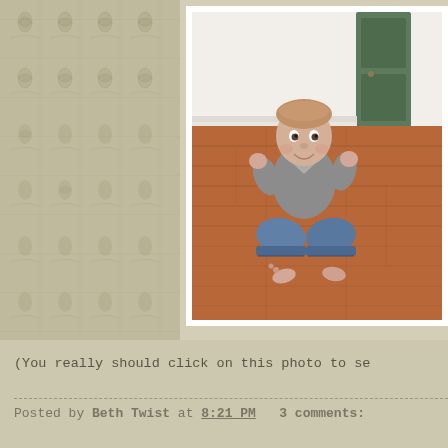[Figure (photo): Blog page with damask wallpaper sidebar on the left. Center/right shows a photo of a baby/toddler sitting on a hardwood floor wearing a gray long-sleeve shirt and jeans, clapping hands and smiling, with a green door visible in the background. A second partially visible photo of another child is on the right edge.]
(You really should click on this photo to se
Posted by Beth Twist at 8:21 PM   3 comments: